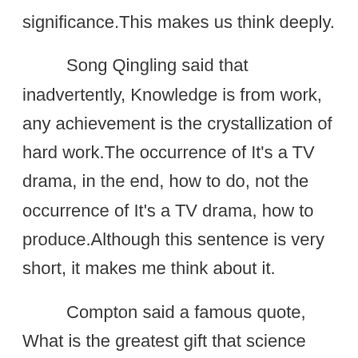significance.This makes us think deeply.
Song Qingling said that inadvertently, Knowledge is from work, any achievement is the crystallization of hard work.The occurrence of It's a TV drama, in the end, how to do, not the occurrence of It's a TV drama, how to produce.Although this sentence is very short, it makes me think about it.
Compton said a famous quote, What is the greatest gift that science has given to mankind? Is the power to believe in the truth.From this point of view,This sentence brings us to a new dimension to think about this problem.
J. Burroughs once said a famous say, A man can fail many times, but he isn't a failure until he begins to blame somebody else.Everyone has to face these problems. How